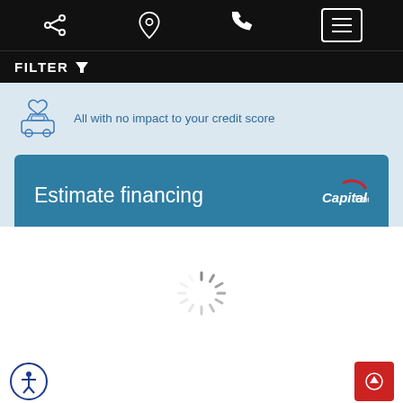[Figure (screenshot): Mobile app top navigation bar with share icon, location pin icon, phone icon, and hamburger menu button on black background]
FILTER
[Figure (illustration): Car with heart icon above it, light blue outlined illustration]
All with no impact to your credit score
[Figure (illustration): Estimate financing button with Capital One logo on teal/dark blue background]
[Figure (illustration): Loading spinner in center of white area]
[Figure (illustration): Accessibility icon (person in circle) bottom left, red scroll-to-top button bottom right]